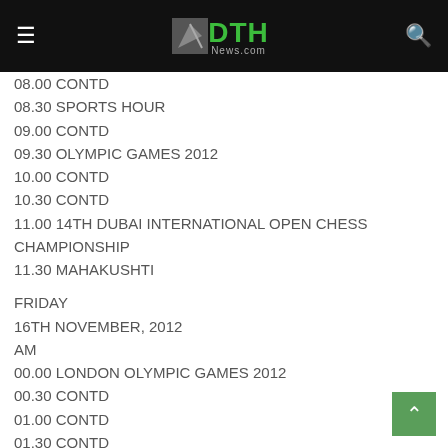DTH News
08.00 CONTD
08.30 SPORTS HOUR
09.00 CONTD
09.30 OLYMPIC GAMES 2012
10.00 CONTD
10.30 CONTD
11.00 14TH DUBAI INTERNATIONAL OPEN CHESS CHAMPIONSHIP
11.30 MAHAKUSHTI
FRIDAY
16TH NOVEMBER, 2012
AM
00.00 LONDON OLYMPIC GAMES 2012
00.30 CONTD
01.00 CONTD
01.30 CONTD
02.00 CONTD
02.30 NATIONAL GAMES JHARKHAND 2011
03.00 CONTD